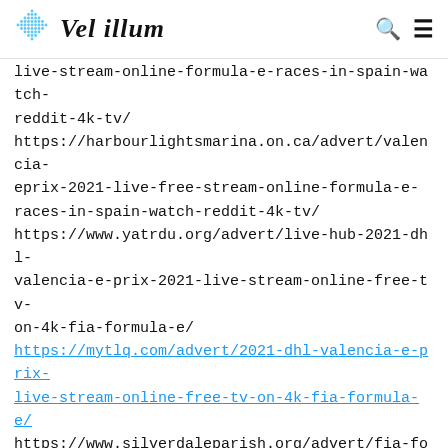Vel illum
live-stream-online-formula-e-races-in-spain-watch-reddit-4k-tv/ https://harbourlightsmarina.on.ca/advert/valencia-eprix-2021-live-free-stream-online-formula-e-races-in-spain-watch-reddit-4k-tv/ https://www.yatrdu.org/advert/live-hub-2021-dhl-valencia-e-prix-2021-live-stream-online-free-tv-on-4k-fia-formula-e/ https://mytlq.com/advert/2021-dhl-valencia-e-prix-live-stream-online-free-tv-on-4k-fia-formula-e/ https://www.silverdaleparish.org/advert/fia-formula-e-dhl-valencia-e-prix-2021-live-stream-reddit-online-free-tv-on-4k/ http://lendavainfo.com/advert/watch-free-valencia-eprix-2021-liveformula-1-on-4k-tv-channel-hd-anywhere/ https://harbourlightsmarina.on.ca/advert/formula-e